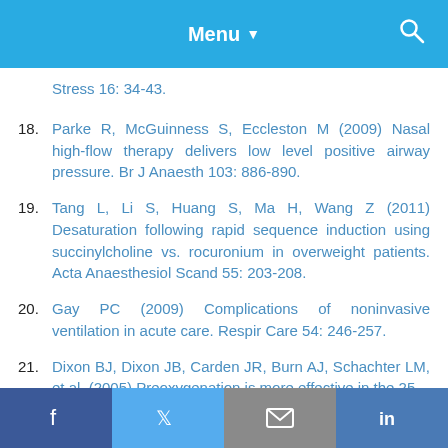Menu ▼
Stress 16: 34-43.
18. Parke R, McGuinness S, Eccleston M (2009) Nasal high-flow therapy delivers low level positive airway pressure. Br J Anaesth 103: 886-890.
19. Tang L, Li S, Huang S, Ma H, Wang Z (2011) Desaturation following rapid sequence induction using succinylcholine vs. rocuronium in overweight patients. Acta Anaesthesiol Scand 55: 203-208.
20. Gay PC (2009) Complications of noninvasive ventilation in acute care. Respir Care 54: 246-257.
21. Dixon BJ, Dixon JB, Carden JR, Burn AJ, Schachter LM, et al. (2005) Preoxygenation is more effective in the 25